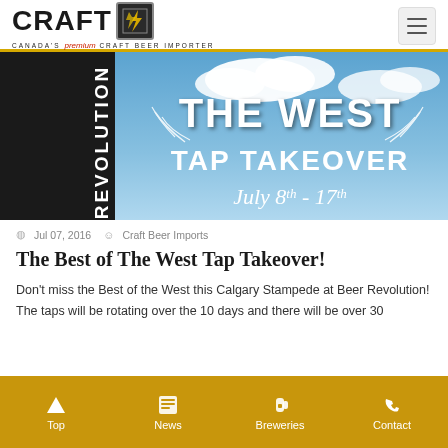CRAFT — CANADA'S premium CRAFT BEER IMPORTER
[Figure (photo): Banner image showing 'REVOLUTION / THE WEST TAP TAKEOVER / July 8th - 17th' event promotional graphic with sky background and wheat stalks]
Jul 07, 2016   Craft Beer Imports
The Best of The West Tap Takeover!
Don't miss the Best of the West this Calgary Stampede at Beer Revolution! The taps will be rotating over the 10 days and there will be over 30
Top   News   Breweries   Contact